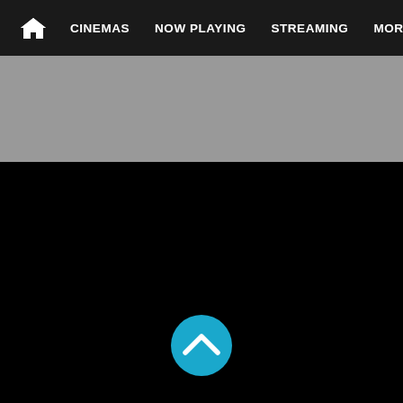Home | CINEMAS | NOW PLAYING | STREAMING | MORE
[Figure (screenshot): Gray banner/advertisement area below navigation bar]
[Figure (other): Blue circular scroll-to-top button with upward chevron arrow]